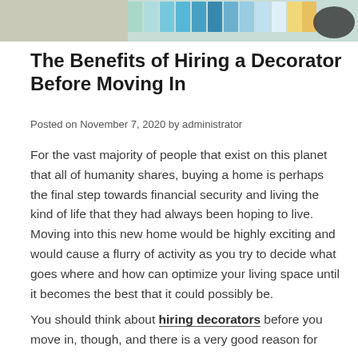[Figure (photo): Top banner image showing color swatches and design materials on a wooden surface]
The Benefits of Hiring a Decorator Before Moving In
Posted on November 7, 2020 by administrator
For the vast majority of people that exist on this planet that all of humanity shares, buying a home is perhaps the final step towards financial security and living the kind of life that they had always been hoping to live. Moving into this new home would be highly exciting and would cause a flurry of activity as you try to decide what goes where and how can optimize your living space until it becomes the best that it could possibly be.
You should think about hiring decorators before you move in, though, and there is a very good reason for